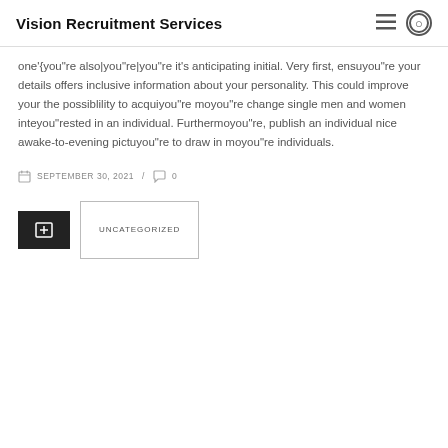Vision Recruitment Services
one'{you"re also|you"re|you"re it's anticipating initial. Very first, ensuyou"re your details offers inclusive information about your personality. This could improve your the possiblility to acquiyou"re moyou"re change single men and women inteyou"rested in an individual. Furthermoyou"re, publish an individual nice awake-to-evening pictuyou"re to draw in moyou"re individuals.
SEPTEMBER 30, 2021 / 0
UNCATEGORIZED